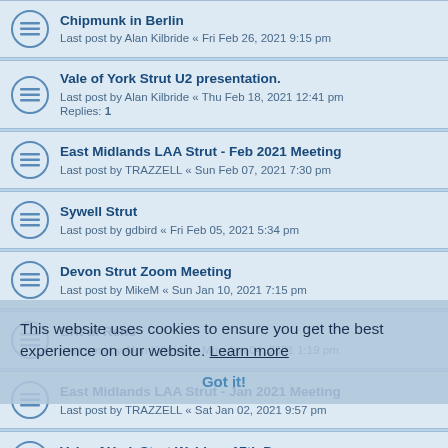Chipmunk in Berlin
Last post by Alan Kilbride « Fri Feb 26, 2021 9:15 pm
Vale of York Strut U2 presentation.
Last post by Alan Kilbride « Thu Feb 18, 2021 12:41 pm
Replies: 1
East Midlands LAA Strut - Feb 2021 Meeting
Last post by TRAZZELL « Sun Feb 07, 2021 7:30 pm
Sywell Strut
Last post by gdbird « Fri Feb 05, 2021 5:34 pm
Devon Strut Zoom Meeting
Last post by MikeM « Sun Jan 10, 2021 7:15 pm
Brit at Reno
Last post by Alan Kilbride « Mon Jan 04, 2021 1:19 pm
East Midlands LAA Strut - Jan 2021 Meeting
Last post by TRAZZELL « Sat Jan 02, 2021 9:57 pm
Vale of York Strut Webinar 17th Dec
Last post by Alan Kilbride « Fri Dec 11, 2020 5:34 pm
East Midlands LAA Strut - Dec 2020 Meeting
Last post by TRAZZELL « Wed Dec 09, 2020 9:27 pm
Vale of York Strut Zoom meeting
Last post by Alan Kilbride « Tue Nov 17, 2020 6:27 am
Replies: 1
This website uses cookies to ensure you get the best experience on our website. Learn more
Got it!